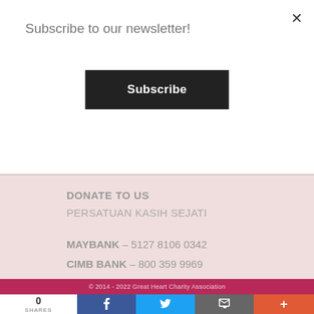Subscribe to our newsletter!
Subscribe
DONATE TO US
PERSATUAN KASIH SEJATI
MAYBANK – 5127 8106 0342
CIMB BANK – 800 359 9969
OCBC BANK – 705 131 4840
© 2014 - 2022 Great Heart Charity Association
0 SHARES